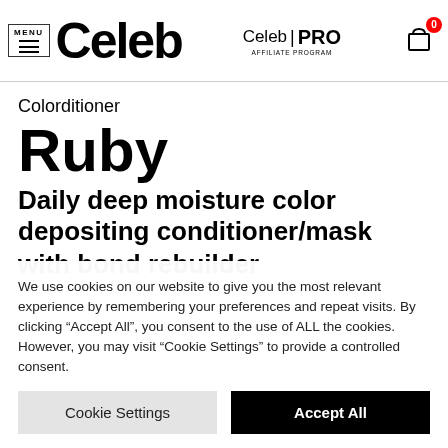MENU ≡Celeb | Celeb PRO AFFILIATE PROGRAM | Cart (0)
Colorditioner
Ruby
Daily deep moisture color depositing conditioner/mask
with bond rebuilder
We use cookies on our website to give you the most relevant experience by remembering your preferences and repeat visits. By clicking "Accept All", you consent to the use of ALL the cookies. However, you may visit "Cookie Settings" to provide a controlled consent.
Cookie Settings | Accept All